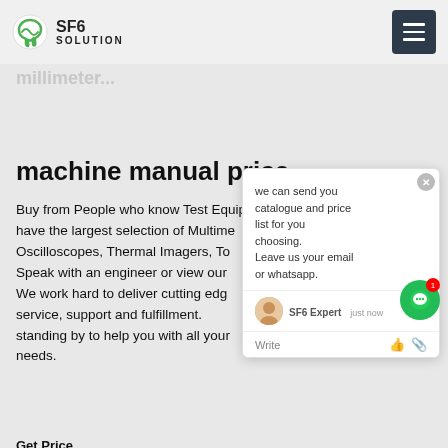SF6 SOLUTION
machine manual price
Buy from People who know Test Equipment. We have the largest selection of Multimeters, Oscilloscopes, Thermal Imagers, To... Speak with an engineer or view our ... s. We work hard to deliver cutting edge service, support and fulfillment. ... standing by to help you with all your ... needs.
we can send you catalogue and price list for you choosing. Leave us your email or whatsapp.
SF6 Expert    just now
Write
Get Price
[Figure (photo): Electrical power line workers on utility poles with transmission lines against a grey sky]